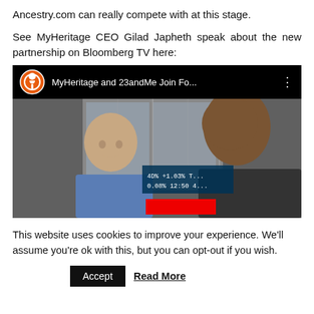Ancestry.com can really compete with at this stage.
See MyHeritage CEO Gilad Japheth speak about the new partnership on Bloomberg TV here:
[Figure (screenshot): YouTube video thumbnail showing MyHeritage logo and two men in conversation outdoors, title reads 'MyHeritage and 23andMe Join Fo...']
This website uses cookies to improve your experience. We'll assume you're ok with this, but you can opt-out if you wish.
Accept   Read More